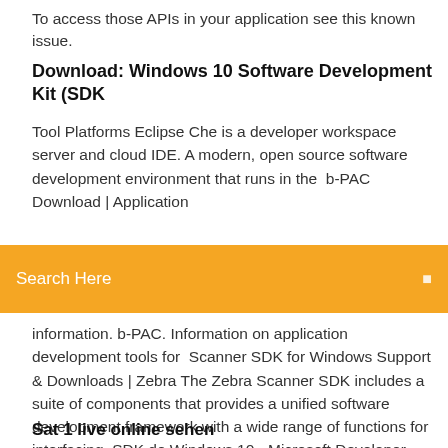To access those APIs in your application see this known issue.
Download: Windows 10 Software Development Kit (SDK
Tool Platforms Eclipse Che is a developer workspace server and cloud IDE. A modern, open source software development environment that runs in the  b-PAC Download | Application
Search Here
information. b-PAC. Information on application development tools for  Scanner SDK for Windows Support & Downloads | Zebra The Zebra Scanner SDK includes a suite of components that provides a unified software development framework with a wide range of functions for interfacing  SDK de Windows 10 - Microsoft Developer Windows SDK para Windows 10 contiene encabezados, bibliotecas y herramientas que puede usar cuando cree aplicaciones que se ejecuten en Windows.
Sat 1 live online sehen